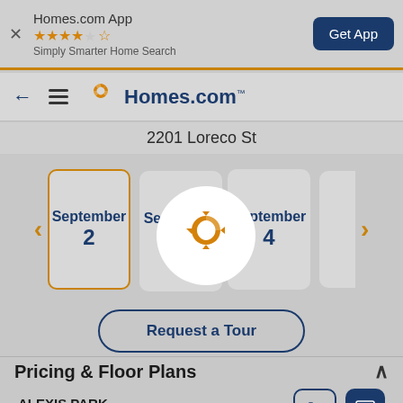[Figure (screenshot): App banner with Homes.com App title, star rating, subtitle 'Simply Smarter Home Search', and 'Get App' button]
[Figure (screenshot): Navigation bar with back arrow, hamburger menu, Homes.com logo and wordmark]
2201 Loreco St
[Figure (screenshot): Date carousel showing September 2 (selected), September 3 (with loading overlay), September 4, and partial next date card]
[Figure (screenshot): Loading spinner overlay on September 3 card — white circle with orange Homes.com logo]
Request a Tour
Pricing & Floor Plans
ALEXIS PARK
Property Manager